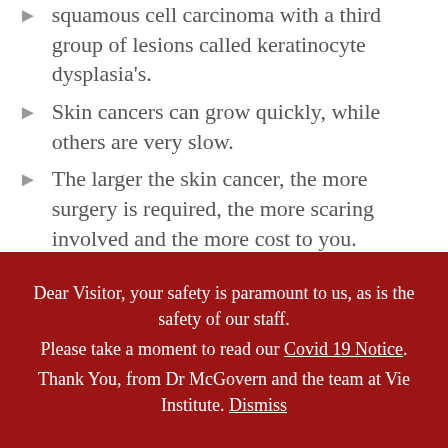squamous cell carcinoma with a third group of lesions called keratinocyte dysplasia's.
Skin cancers can grow quickly, while others are very slow.
The larger the skin cancer, the more surgery is required, the more scaring involved and the more cost to you. Medicare
Dear Visitor, your safety is paramount to us, as is the safety of our staff. Please take a moment to read our Covid 19 Notice. Thank You, from Dr McGovern and the team at Vie Institute. Dismiss